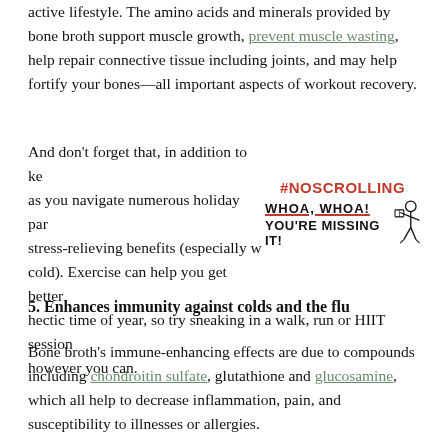active lifestyle. The amino acids and minerals provided by bone broth support muscle growth, prevent muscle wasting, help repair connective tissue including joints, and may help fortify your bones—all important aspects of workout recovery.
And don't forget that, in addition to ke as you navigate numerous holiday par stress-relieving benefits (especially w cold). Exercise can help you get better hectic time of year, so try sneaking in a walk, run or HIIT session however you can.
[Figure (illustration): A #NOSCROLLING ad box with text: '#NOSCROLLING', 'WHOA, WHOA!' (underlined in red), 'YOU'RE MISSING IT!' and a small stick figure man reading.]
5. Enhances immunity against colds and the flu
Bone broth's immune-enhancing effects are due to compounds including chondroitin sulfate, glutathione and glucosamine, which all help to decrease inflammation, pain, and susceptibility to illnesses or allergies.